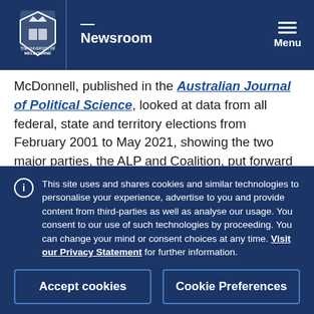Newsroom
McDonnell, published in the Australian Journal of Political Science, looked at data from all federal, state and territory elections from February 2001 to May 2021, showing the two major parties, the ALP and Coalition, put forward Indigenous candidates on 143 occasions between 2001 and 2021, 70 per cent of whom stood for the ALP.
This site uses and shares cookies and similar technologies to personalise your experience, advertise to you and provide content from third-parties as well as analyse our usage. You consent to our use of such technologies by proceeding. You can change your mind or consent choices at any time. Visit our Privacy Statement for further information.